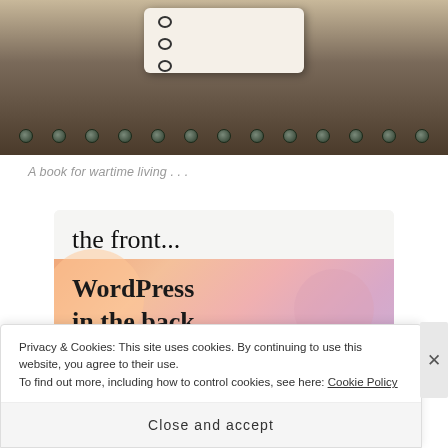[Figure (photo): Top portion of a photograph showing a notebook or card with spiral binding on a dark textured metal surface with rivets/studs.]
A book for wartime living . . .
[Figure (screenshot): Advertisement banner with light gray top section containing 'the front...' text and a colorful gradient (peach, salmon, lavender) lower section with bold text 'WordPress in the back.']
Privacy & Cookies: This site uses cookies. By continuing to use this website, you agree to their use.
To find out more, including how to control cookies, see here: Cookie Policy
Close and accept